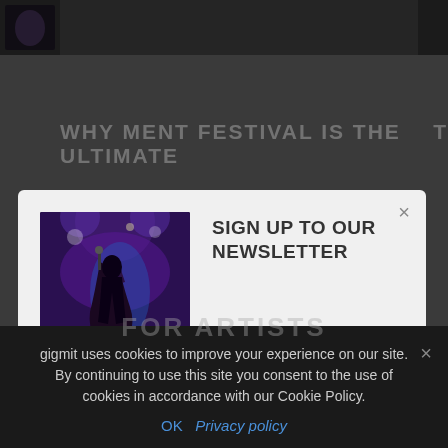WHY MENT FESTIVAL IS THE ULTIMATE
SIGN UP TO OUR NEWSLETTER
Receive the latest guide & news posts, booking tipps and new open calls by gigmit 🎵
Subscribe
gigmit uses cookies to improve your experience on our site. By continuing to use this site you consent to the use of cookies in accordance with our Cookie Policy.
OK   Privacy policy